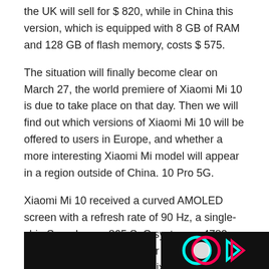the UK will sell for $ 820, while in China this version, which is equipped with 8 GB of RAM and 128 GB of flash memory, costs $ 575.
The situation will finally become clear on March 27, the world premiere of Xiaomi Mi 10 is due to take place on that day. Then we will find out which versions of Xiaomi Mi 10 will be offered to users in Europe, and whether a more interesting Xiaomi Mi model will appear in a region outside of China. 10 Pro 5G.
Xiaomi Mi 10 received a curved AMOLED screen with a refresh rate of 90 Hz, a single-chip Snapdragon 865 SoC system, a 4780 mAh battery with support for 30-watt fast charging, and a 108-megapixel camera.
Recently news
[Figure (photo): Dark/black image thumbnail on the left]
[Figure (photo): Dark image with colorful TikTok-style logo on the right]